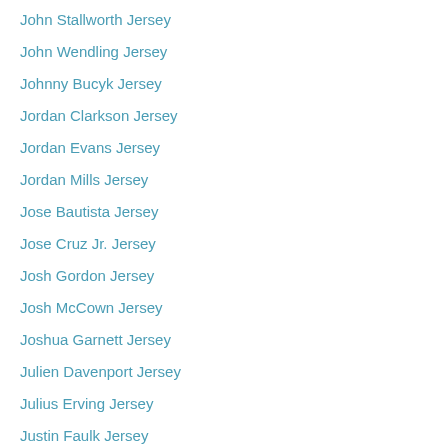John Stallworth Jersey
John Wendling Jersey
Johnny Bucyk Jersey
Jordan Clarkson Jersey
Jordan Evans Jersey
Jordan Mills Jersey
Jose Bautista Jersey
Jose Cruz Jr. Jersey
Josh Gordon Jersey
Josh McCown Jersey
Joshua Garnett Jersey
Julien Davenport Jersey
Julius Erving Jersey
Justin Faulk Jersey